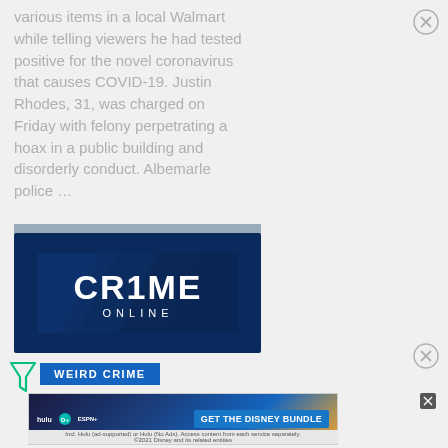various items in a local Walmart while telling viewers he had tested positive for the novel coronavirus that causes COVID-19. Justin Rhodes, 31, was charged on Friday with felony perpetrating a hoax in a public building and disorderly conduct. Albemarle police ...
[Figure (logo): Crime Online logo — white bold text 'CRIME ONLINE' on a dark blue geometric background]
WEIRD CRIME
[Figure (screenshot): Disney Bundle advertisement banner: hulu, Disney+, ESPN+ logos with 'GET THE DISNEY BUNDLE' call to action button. Fine print: Incl. Hulu (ad-supported) or Hulu (No Ads). Access content from each service separately. ©2021 Disney and its related entities]